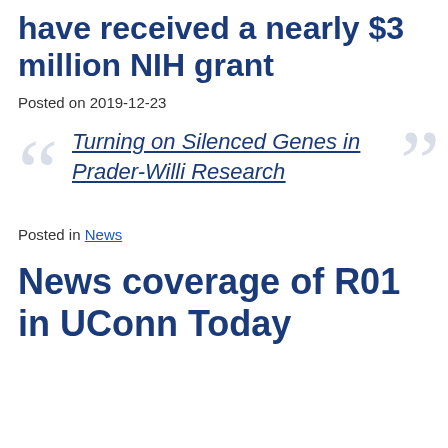have received a nearly $3 million NIH grant
Posted on 2019-12-23
Turning on Silenced Genes in Prader-Willi Research
Posted in News
News coverage of R01 in UConn Today